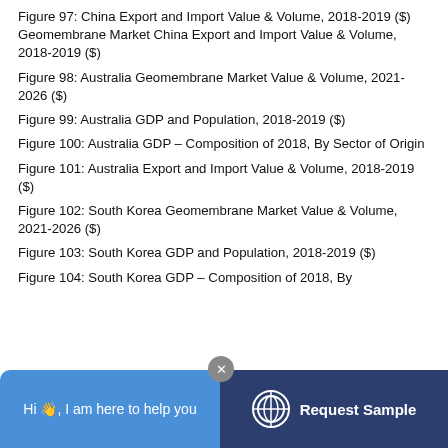Figure 97: China Export and Import Value & Volume, 2018-2019 ($) Geomembrane Market China Export and Import Value & Volume, 2018-2019 ($)
Figure 98: Australia Geomembrane Market Value & Volume, 2021-2026 ($)
Figure 99: Australia GDP and Population, 2018-2019 ($)
Figure 100: Australia GDP – Composition of 2018, By Sector of Origin
Figure 101: Australia Export and Import Value & Volume, 2018-2019 ($)
Figure 102: South Korea Geomembrane Market Value & Volume, 2021-2026 ($)
Figure 103: South Korea GDP and Population, 2018-2019 ($)
Figure 104: South Korea GDP – Composition of 2018, By